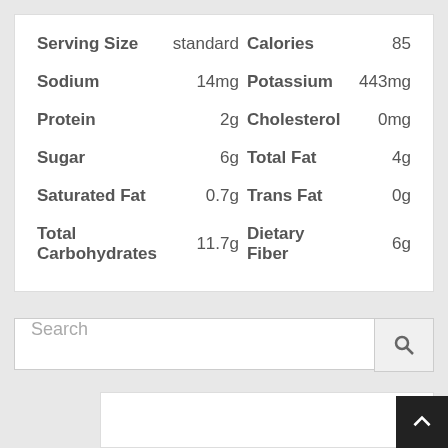| Nutrient | Amount | Nutrient | Amount |
| --- | --- | --- | --- |
| Serving Size | standard | Calories | 85 |
| Sodium | 14mg | Potassium | 443mg |
| Protein | 2g | Cholesterol | 0mg |
| Sugar | 6g | Total Fat | 4g |
| Saturated Fat | 0.7g | Trans Fat | 0g |
| Total Carbohydrates | 11.7g | Dietary Fiber | 6g |
Search
[Figure (other): White content box placeholder below search bar]